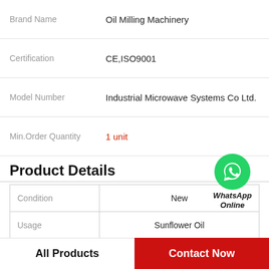| Attribute | Value |
| --- | --- |
| Brand Name | Oil Milling Machinery |
| Certification | CE,ISO9001 |
| Model Number | Industrial Microwave Systems Co Ltd. |
| Min.Order Quantity | 1 unit |
Product Details
[Figure (logo): WhatsApp Online green circle badge with phone icon and text WhatsApp Online]
| Attribute | Value |
| --- | --- |
| Condition | New |
| Usage | Sunflower Oil |
| Type | Cold & Hot Pressing Machine |
| Automatic Grade | Automatic |
All Products
Contact Now